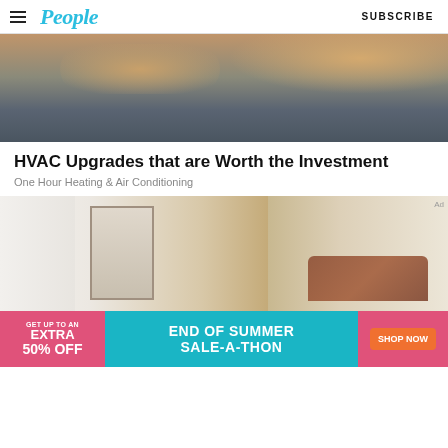People | SUBSCRIBE
[Figure (photo): A dog resting on a gray fabric sofa, close-up view]
HVAC Upgrades that are Worth the Investment
One Hour Heating & Air Conditioning
[Figure (photo): A modern living room with white shelving, artwork on wall, large windows with curtains, and brown leather sofa]
[Figure (screenshot): Advertisement banner: GET UP TO AN EXTRA 50% OFF | END OF SUMMER SALE-A-THON | SHOP NOW]